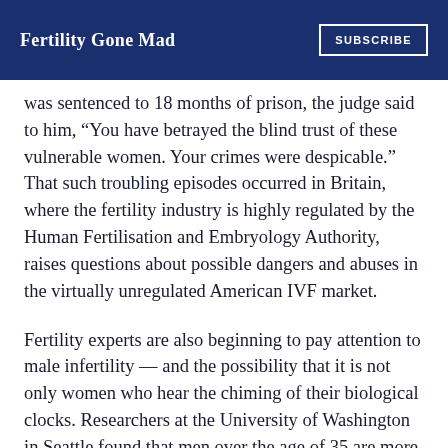Fertility Gone Mad | SUBSCRIBE
was sentenced to 18 months of prison, the judge said to him, “You have betrayed the blind trust of these vulnerable women. Your crimes were despicable.” That such troubling episodes occurred in Britain, where the fertility industry is highly regulated by the Human Fertilisation and Embryology Authority, raises questions about possible dangers and abuses in the virtually unregulated American IVF market.
Fertility experts are also beginning to pay attention to male infertility — and the possibility that it is not only women who hear the chiming of their biological clocks. Researchers at the University of Washington in Seattle found that men over the age of 35 are more likely to have “compromised” sperm. “Older men had